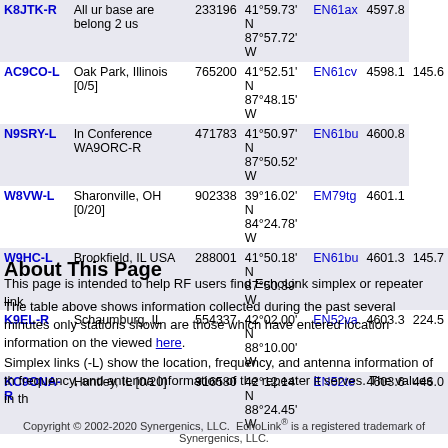| Callsign | Location | Node | Coordinates | Grid | Dist | Freq |
| --- | --- | --- | --- | --- | --- | --- |
| K8JTK-R | All ur base are belong 2 us | 233196 | 41°59.73' N 87°57.72' W | EN61ax | 4597.8 |  |
| AC9CO-L | Oak Park, Illinois [0/5] | 765200 | 41°52.51' N 87°48.15' W | EN61cv | 4598.1 | 145.6 |
| N9SRY-L | In Conference WA9ORC-R | 471783 | 41°50.97' N 87°50.52' W | EN61bu | 4600.8 |  |
| W8VW-L | Sharonville, OH [0/20] | 902338 | 39°16.02' N 84°24.78' W | EM79tg | 4601.1 |  |
| W9HC-L | Brookfield, IL USA | 288001 | 41°50.18' N 87°50.39' W | EN61bu | 4601.3 | 145.7 |
| K9EL-R | Schaumburg, IL | 554337 | 42°02.00' N 88°10.00' W | EN52va | 4603.3 | 224.5 |
| KC9ONA-R | Huntley, IL [0/20] | 916580 | 42°12.14' N 88°24.45' W | EN52te | 4603.6 | 446.0 |
About This Page
This page is intended to help RF users find EchoLink simplex or repeater link
The table above shows information collected during the past several minutes only stations shown are those which have entered location information on the viewed here.
Simplex links (-L) show the location, frequency, and antenna information of th frequency, and antenna information of the repeater it serves. The values in th
Copyright © 2002-2020 Synergenics, LLC.  EchoLink® is a registered trademark of Synergenics, LLC.